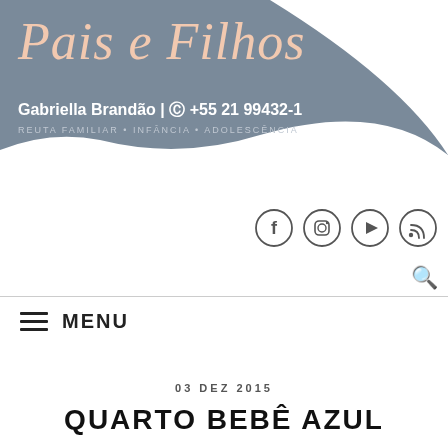[Figure (logo): Pais e Filhos blog header with cursive pink text, Gabriella Brandão name, phone number, and gray wave background shape]
[Figure (infographic): Row of four circular social media icons: Facebook, Instagram, YouTube, RSS feed]
MENU
03 DEZ 2015
QUARTO BEBÊ AZUL